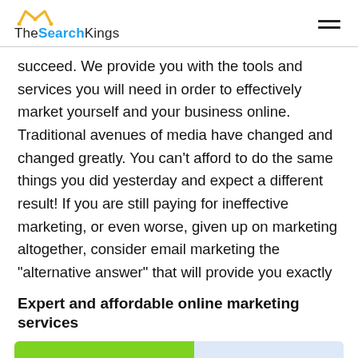TheSearchKings
succeed. We provide you with the tools and services you will need in order to effectively market yourself and your business online. Traditional avenues of media have changed and changed greatly. You can't afford to do the same things you did yesterday and expect a different result! If you are still paying for ineffective marketing, or even worse, given up on marketing altogether, consider email marketing the “alternative answer” that will provide you exactly
Expert and affordable online marketing services
Start Today!
Contact Sales
can certainly make a bigger dent.